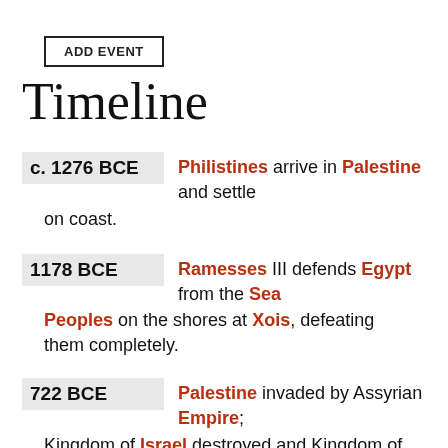ADD EVENT
Timeline
c. 1276 BCE — Philistines arrive in Palestine and settle on coast.
1178 BCE — Ramesses III defends Egypt from the Sea Peoples on the shores at Xois, defeating them completely.
722 BCE — Palestine invaded by Assyrian Empire; Kingdom of Israel destroyed and Kingdom of Judah subjugated.